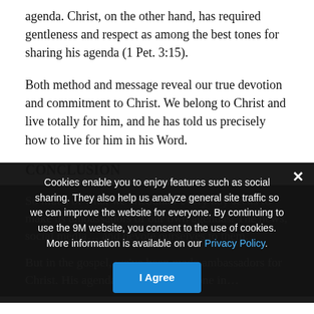agenda. Christ, on the other hand, has required gentleness and respect as among the best tones for sharing his agenda (1 Pet. 3:15).
Both method and message reveal our true devotion and commitment to Christ. We belong to Christ and live totally for him, and he has told us precisely how to live for him in his Word.
CONCLUSION
So much of what we encounter every day seeks to make us ambassadors of our own agendas. The news, social media…and devote ourselves to them.
But in the gospel, we've been made ambassadors for Christ. His agenda…and he is the one in…
Cookies enable you to enjoy features such as social sharing. They also help us analyze general site traffic so we can improve the website for everyone. By continuing to use the 9M website, you consent to the use of cookies. More information is available on our Privacy Policy.